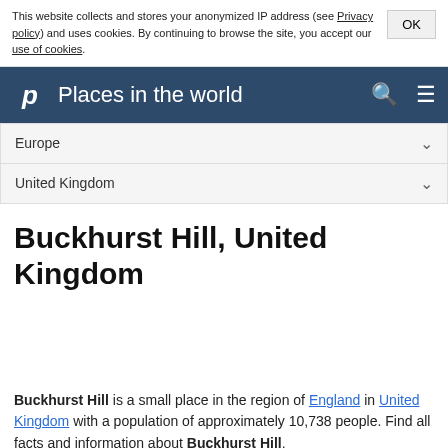This website collects and stores your anonymized IP address (see Privacy policy) and uses cookies. By continuing to browse the site, you accept our use of cookies. OK
Places in the world
Europe
United Kingdom
Buckhurst Hill, United Kingdom
Buckhurst Hill is a small place in the region of England in United Kingdom with a population of approximately 10,738 people. Find all facts and information about Buckhurst Hill.